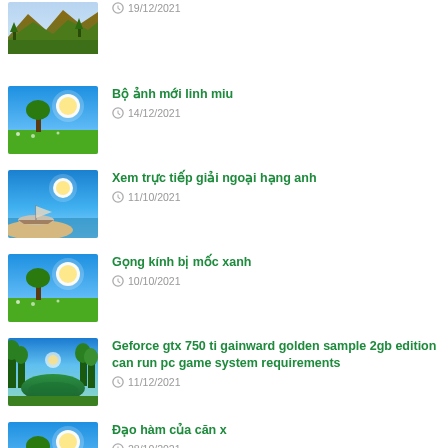[Figure (photo): Mountain landscape with green trees and yellow/brown slopes]
19/12/2021
[Figure (photo): Green meadow with tree and bright blue sky with sun]
Bộ ảnh mới linh miu
14/12/2021
[Figure (photo): Boat on blue water near sandy shore with bright sun]
Xem trực tiếp giải ngoại hạng anh
11/10/2021
[Figure (photo): Green meadow with tree and bright blue sky with sun]
Gọng kính bị mốc xanh
10/10/2021
[Figure (photo): Lake reflection of green trees with bright sky]
Geforce gtx 750 ti gainward golden sample 2gb edition can run pc game system requirements
11/12/2021
[Figure (photo): Green meadow with tree and bright blue sky with sun]
Đạo hàm của căn x
28/10/2021